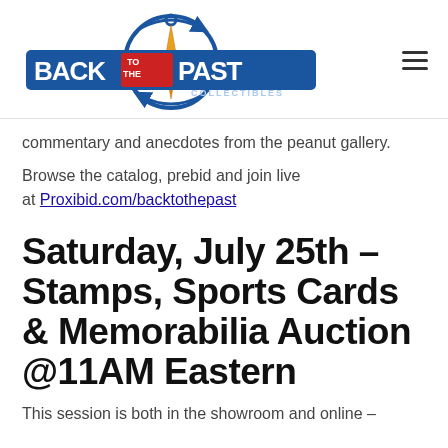[Figure (logo): Back to the Past Collectibles logo with compass/stopwatch graphic and blue banner]
commentary and anecdotes from the peanut gallery.
Browse the catalog, prebid and join live at Proxibid.com/backtothepast
Saturday, July 25th – Stamps, Sports Cards & Memorabilia Auction @11AM Eastern
This session is both in the showroom and online –